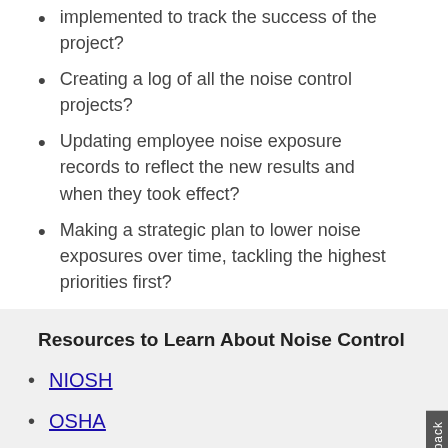implemented to track the success of the project?
Creating a log of all the noise control projects?
Updating employee noise exposure records to reflect the new results and when they took effect?
Making a strategic plan to lower noise exposures over time, tackling the highest priorities first?
Resources to Learn About Noise Control
NIOSH
OSHA
HSE (UK)